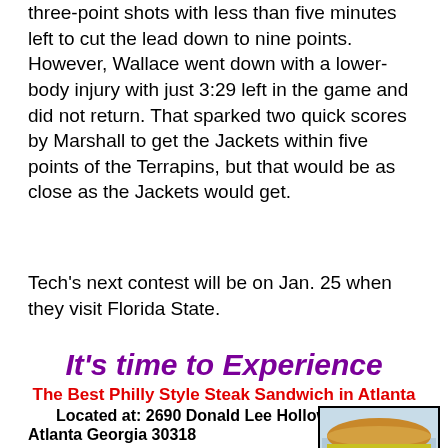three-point shots with less than five minutes left to cut the lead down to nine points. However, Wallace went down with a lower-body injury with just 3:29 left in the game and did not return. That sparked two quick scores by Marshall to get the Jackets within five points of the Terrapins, but that would be as close as the Jackets would get.
Tech's next contest will be on Jan. 25 when they visit Florida State.
[Figure (infographic): Advertisement for a Philly Style Steak Sandwich restaurant in Atlanta. Large purple italic headline 'It's time to Experience', red bold subheading 'The Best Philly Style Steak Sandwich in Atlanta', black bold text 'Located at: 2690 Donald Lee Hollowell Pkwy', black bold text 'Atlanta Georgia 30318', with Atlanta skyline illustration and food photo.]